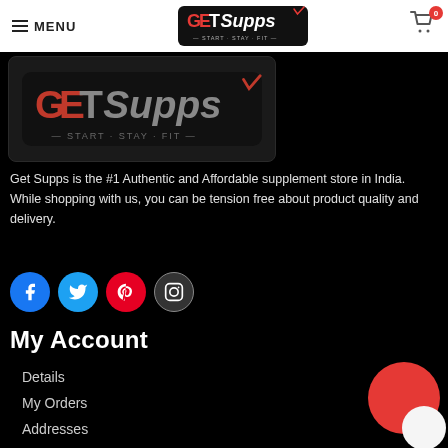MENU | GetSupps — START · STAY · FIT — | Cart 0
[Figure (logo): GetSupps logo — START · STAY · FIT — dark background version]
Get Supps is the #1 Authentic and Affordable supplement store in India. While shopping with us, you can be tension free about product quality and delivery.
[Figure (infographic): Social media icons row: Facebook (blue), Twitter (light blue), Pinterest (red), Instagram (dark grey)]
My Account
Details
My Orders
Addresses